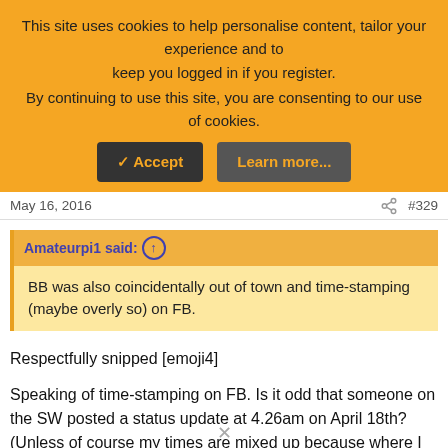This site uses cookies to help personalise content, tailor your experience and to keep you logged in if you register.
By continuing to use this site, you are consenting to our use of cookies.
✓ Accept   Learn more...
May 16, 2016   #329
Amateurpi1 said: ↑
BB was also coincidentally out of town and time-stamping (maybe overly so) on FB.
Respectfully snipped [emoji4]
Speaking of time-stamping on FB. Is it odd that someone on the SW posted a status update at 4.26am on April 18th? (Unless of course my times are mixed up because where I live is 15hrs